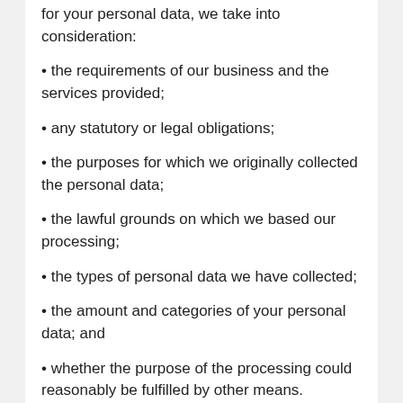for your personal data, we take into consideration:
the requirements of our business and the services provided;
any statutory or legal obligations;
the purposes for which we originally collected the personal data;
the lawful grounds on which we based our processing;
the types of personal data we have collected;
the amount and categories of your personal data; and
whether the purpose of the processing could reasonably be fulfilled by other means.
Change of purpose
Where we need to use your personal data for another reason, other than for the purpose for which we collected it, we will only use your personal data